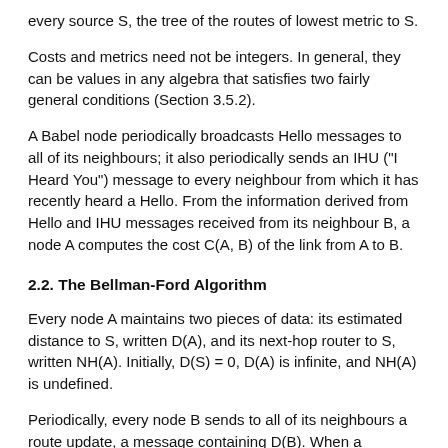every source S, the tree of the routes of lowest metric to S.
Costs and metrics need not be integers. In general, they can be values in any algebra that satisfies two fairly general conditions (Section 3.5.2).
A Babel node periodically broadcasts Hello messages to all of its neighbours; it also periodically sends an IHU ("I Heard You") message to every neighbour from which it has recently heard a Hello. From the information derived from Hello and IHU messages received from its neighbour B, a node A computes the cost C(A, B) of the link from A to B.
2.2. The Bellman-Ford Algorithm
Every node A maintains two pieces of data: its estimated distance to S, written D(A), and its next-hop router to S, written NH(A). Initially, D(S) = 0, D(A) is infinite, and NH(A) is undefined.
Periodically, every node B sends to all of its neighbours a route update, a message containing D(B). When a